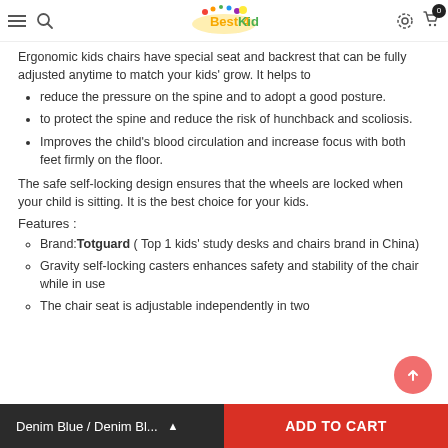Best4Kids header with navigation icons and logo
Ergonomic kids chairs have special seat and backrest that can be fully adjusted anytime to match your kids' grow. It helps to
reduce the pressure on the spine and to adopt a good posture.
to protect the spine and reduce the risk of hunchback and scoliosis.
Improves the child's blood circulation and increase focus with both feet firmly on the floor.
The safe self-locking design ensures that the wheels are locked when your child is sitting. It is the best choice for your kids.
Features :
Brand: Totguard ( Top 1 kids' study desks and chairs brand in China)
Gravity self-locking casters enhances safety and stability of the chair while in use
The chair seat is adjustable independently in two
Denim Blue / Denim Bl... ▲  ADD TO CART